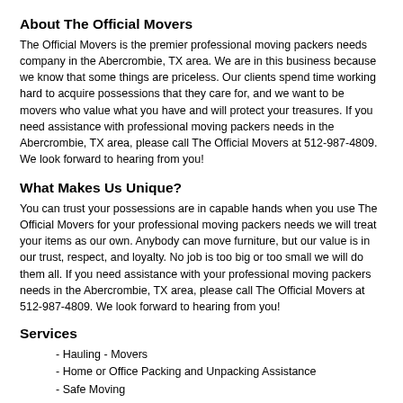About The Official Movers
The Official Movers is the premier professional moving packers needs company in the Abercrombie, TX area. We are in this business because we know that some things are priceless. Our clients spend time working hard to acquire possessions that they care for, and we want to be movers who value what you have and will protect your treasures. If you need assistance with professional moving packers needs in the Abercrombie, TX area, please call The Official Movers at 512-987-4809. We look forward to hearing from you!
What Makes Us Unique?
You can trust your possessions are in capable hands when you use The Official Movers for your professional moving packers needs we will treat your items as our own. Anybody can move furniture, but our value is in our trust, respect, and loyalty. No job is too big or too small we will do them all. If you need assistance with your professional moving packers needs in the Abercrombie, TX area, please call The Official Movers at 512-987-4809. We look forward to hearing from you!
Services
- Hauling - Movers
- Home or Office Packing and Unpacking Assistance
- Safe Moving